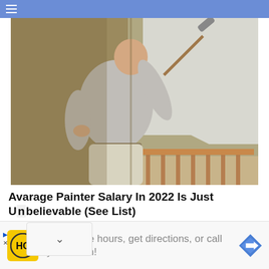≡
[Figure (photo): A bald man wearing a grey t-shirt and light trousers, seen from behind, using a paint roller to paint a wall white inside a room. The room has brown/tan colored walls and a wooden railing visible in the lower right.]
Avarage Painter Salary In 2022 Is Just Unbelievable (See List)
[Figure (other): Advertisement banner with HC (Hair Club) yellow logo on left, text 'View store hours, get directions, or call your salon!' in grey, and a blue navigation arrow icon on the right.]